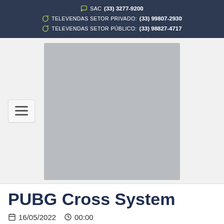SAC (33) 3277-9200 | TELEVENDAS SETOR PRIVADO: (33) 99807-2930 | TELEVENDAS SETOR PÚBLICO: (33) 98827-4717
[Figure (photo): Gray placeholder image (product or article image not loaded), with a hamburger menu button on the left side]
PUBG Cross System
16/05/2022   00:00
The term cross-platform game
https://www.allenistsultimate.com/qualifications_of...